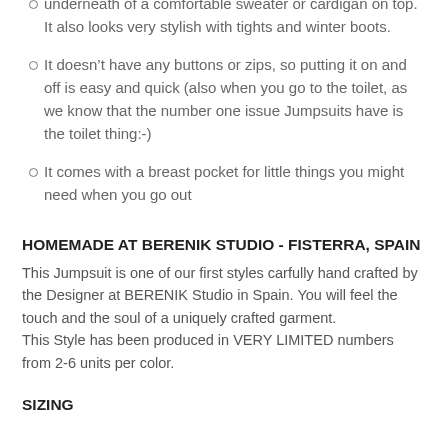underneath of a comfortable sweater or cardigan on top. It also looks very stylish with tights and winter boots.
It doesn’t have any buttons or zips, so putting it on and off is easy and quick (also when you go to the toilet, as we know that the number one issue Jumpsuits have is the toilet thing:-)
It comes with a breast pocket for little things you might need when you go out
HOMEMADE AT BERENIK STUDIO - FISTERRA, SPAIN
This Jumpsuit is one of our first styles carfully hand crafted by the Designer at BERENIK Studio in Spain. You will feel the touch and the soul of a uniquely crafted garment.
This Style has been produced in VERY LIMITED numbers from 2-6 units per color.
SIZING